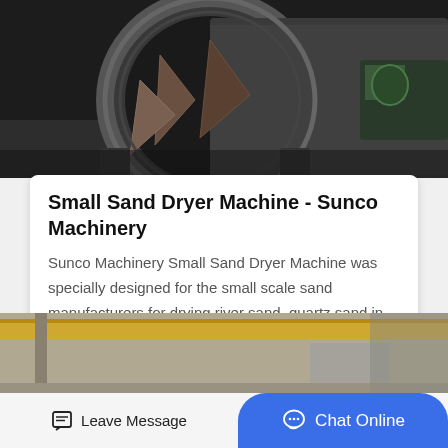[Figure (photo): Industrial sand dryer machine photographed from the front opening, showing a large cylindrical drum with internal fins/scoops, in a factory setting. Dark industrial environment.]
Small Sand Dryer Machine - Sunco Machinery
Sunco Machinery Small Sand Dryer Machine was specially designed for the small scale sand manufacturers for drying river sand, quartz sand in the market. Small sand dryer is the main...
Get Price
[Figure (photo): Partial view of industrial machinery/equipment in factory, yellow crane beam visible, industrial interior.]
Leave Message
Chat Online